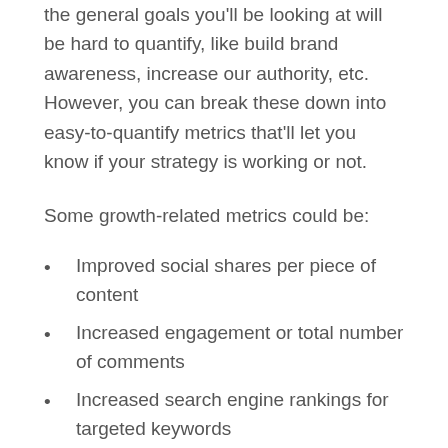the general goals you'll be looking at will be hard to quantify, like build brand awareness, increase our authority, etc. However, you can break these down into easy-to-quantify metrics that'll let you know if your strategy is working or not.
Some growth-related metrics could be:
Improved social shares per piece of content
Increased engagement or total number of comments
Increased search engine rankings for targeted keywords
Steady website traffic growth
Email list growth